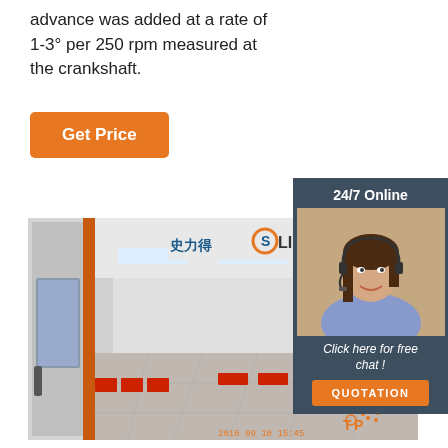advance was added at a rate of 1-3° per 250 rpm measured at the crankshaft.
[Figure (other): Orange 'Get Price' button]
[Figure (photo): Industrial spray paint booth with SLIDE branding, showing interior with red heating lamps, white walls, ceiling lights, and tiled floor. Timestamp 2016-09-10 15:45 visible.]
[Figure (infographic): Sidebar panel with '24/7 Online' label, photo of female customer service agent with headset, 'Click here for free chat!' text, and orange QUOTATION button on dark blue background.]